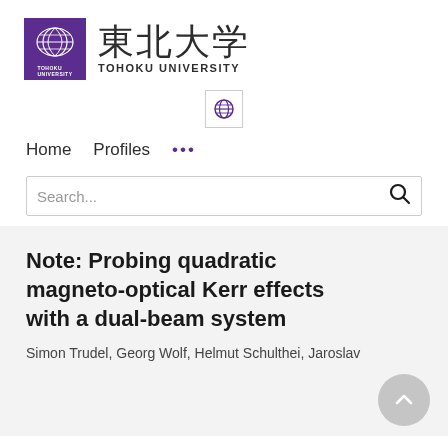[Figure (logo): Tohoku University logo with purple square containing white circular emblem and Japanese/English university name]
[Figure (logo): Globe/language selector icon button]
Home   Profiles   ...
Search...
Note: Probing quadratic magneto-optical Kerr effects with a dual-beam system
Simon Trudel, Georg Wolf, Helmut Schulthei, Jaroslav